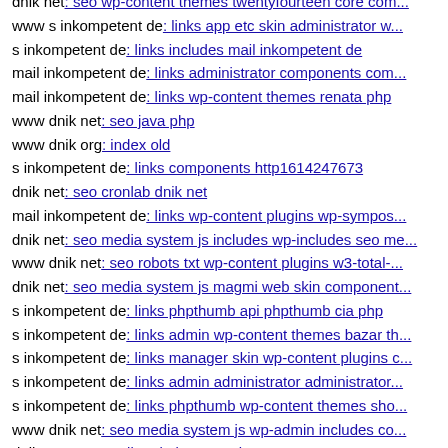dnik net: seo wp-content themes twentyfourteen core com...
www s inkompetent de: links app etc skin administrator w...
s inkompetent de: links includes mail inkompetent de
mail inkompetent de: links administrator components com...
mail inkompetent de: links wp-content themes renata php
www dnik net: seo java php
www dnik org: index old
s inkompetent de: links components http1614247673
dnik net: seo cronlab dnik net
mail inkompetent de: links wp-content plugins wp-sympos...
dnik net: seo media system js includes wp-includes seo me...
www dnik net: seo robots txt wp-content plugins w3-total-...
dnik net: seo media system js magmi web skin component...
s inkompetent de: links phpthumb api phpthumb cia php
s inkompetent de: links admin wp-content themes bazar th...
s inkompetent de: links manager skin wp-content plugins c...
s inkompetent de: links admin administrator administrator...
s inkompetent de: links phpthumb wp-content themes sho...
www dnik net: seo media system js wp-admin includes co...
dnik net: seo media admin assets js
dnik net: seo wp-content themes twentyeleven wp-content...